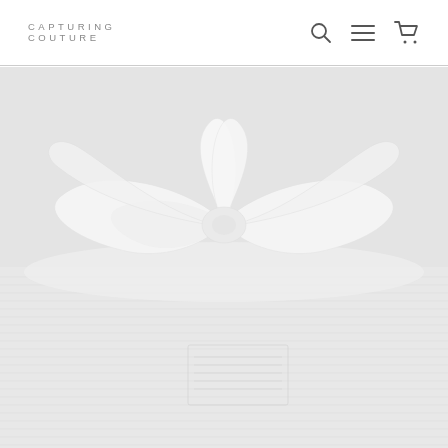Capturing Couture — website header with search, menu, and cart icons
[Figure (photo): Large hero image showing a white gift box with a white satin ribbon bow on a light gray background. The box has subtle horizontal ridges and a small label or tag in the center.]